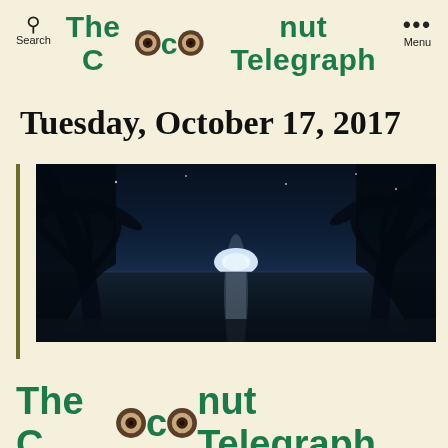Search   The Coconut Telegraph   Menu
Tuesday, October 17, 2017
[Figure (photo): Night beach scene with moonrise over ocean, silhouetted palm trees on both sides, moon reflecting on water]
The Coconut Telegraph